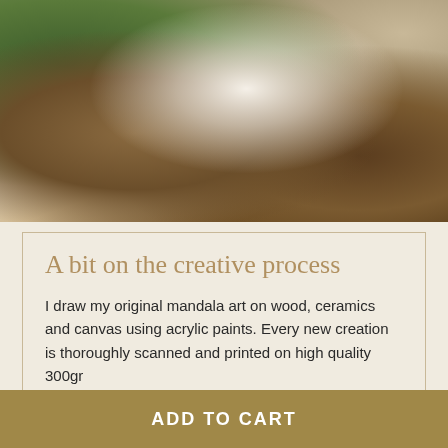[Figure (photo): A woman with curly hair, wearing a white loose blouse with a decorative patch on the back, sitting at a wooden table, drawing or writing, viewed from behind. Books and items visible on the table in the background.]
A bit on the creative process
I draw my original mandala art on wood, ceramics and canvas using acrylic paints. Every new creation is thoroughly scanned and printed on high quality 300gr
ADD TO CART